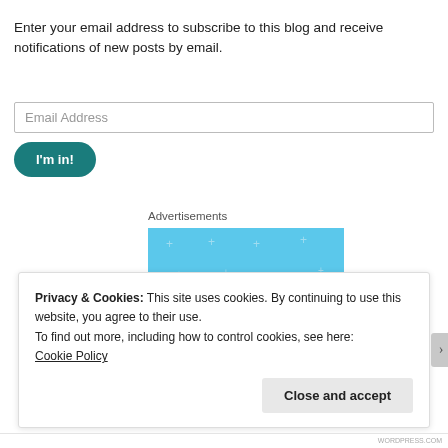Enter your email address to subscribe to this blog and receive notifications of new posts by email.
Email Address
I'm in!
Advertisements
[Figure (illustration): Light blue advertisement banner with sparkle/plus decorations and three circular icons at the bottom: a notebook, a person with dark hair, and a document/list icon.]
Privacy & Cookies: This site uses cookies. By continuing to use this website, you agree to their use.
To find out more, including how to control cookies, see here:
Cookie Policy
Close and accept